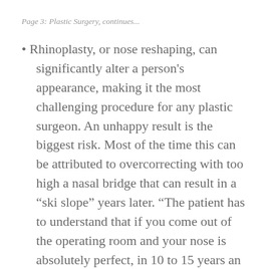Page 3: Plastic Surgery, continues...
Rhinoplasty, or nose reshaping, can significantly alter a person’s appearance, making it the most challenging procedure for any plastic surgeon. An unhappy result is the biggest risk. Most of the time this can be attributed to overcorrecting with too high a nasal bridge that can result in a “ski slope” years later. “The patient has to understand that if you come out of the operating room and your nose is absolutely perfect, in 10 to 15 years an overcorrected nose will begin to show as the fat beneath the nose disappears,” says Coggins. “It’s like steak. It should be just underdone.”